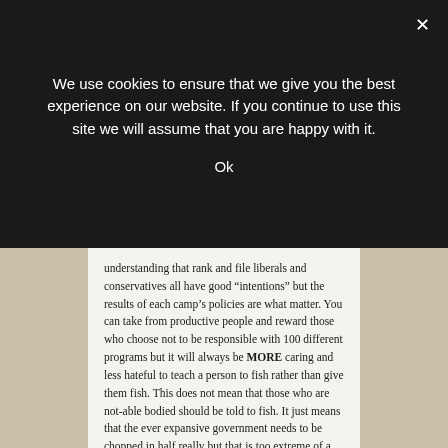We use cookies to ensure that we give you the best experience on our website. If you continue to use this site we will assume that you are happy with it.
Ok
understanding that rank and file liberals and conservatives all have good “intentions” but the results of each camp’s policies are what matter. You can take from productive people and reward those who choose not to be responsible with 100 different programs but it will always be MORE caring and less hateful to teach a person to fish rather than give them fish. This does not mean that those who are not-able bodied should be told to fish. It just means that the ever expansive government needs to be chopped in half really but that is too extreme of a cut – it’d have immediate adverse consequences.